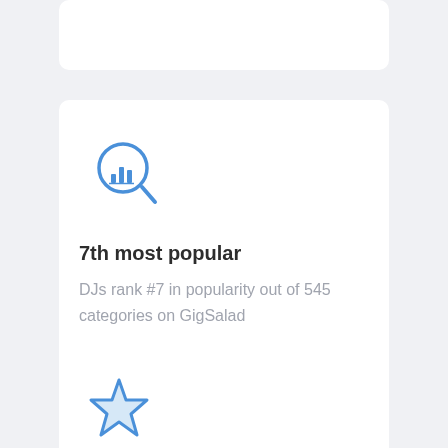[Figure (illustration): Magnifying glass icon with bar chart inside, blue outline style]
7th most popular
DJs rank #7 in popularity out of 545 categories on GigSalad
[Figure (illustration): Star icon, blue outline style with light blue fill]
4.9 out of 5 stars